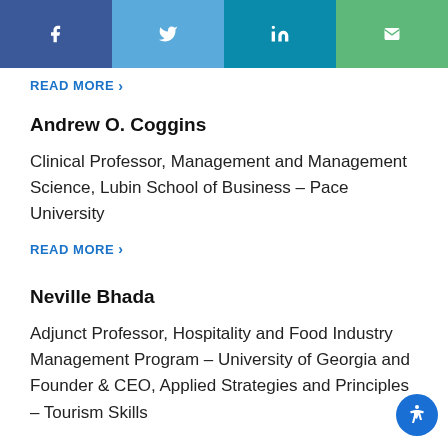Social share bar with Facebook, Twitter, LinkedIn, Email icons
READ MORE
Andrew O. Coggins
Clinical Professor, Management and Management Science, Lubin School of Business – Pace University
READ MORE
Neville Bhada
Adjunct Professor, Hospitality and Food Industry Management Program – University of Georgia and Founder & CEO, Applied Strategies and Principles – Tourism Skills